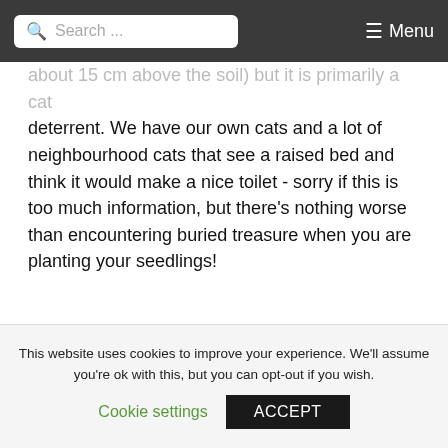Search ... ☰ Menu
about 15 cm above the soil) but it is primarily a cat deterrent.  We have our own cats and a lot of neighbourhood cats that see a raised bed and think it would make a nice toilet - sorry if this is too much information, but there's nothing worse than encountering buried treasure when you are planting your seedlings!
Dahlias
[Figure (photo): Dark photograph of what appears to be a white flower (dahlia) against a very dark background]
This website uses cookies to improve your experience. We'll assume you're ok with this, but you can opt-out if you wish.
Cookie settings   ACCEPT